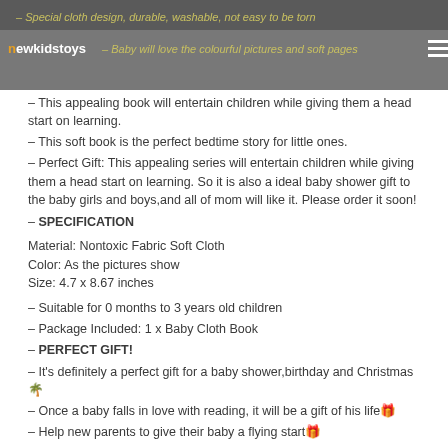newkidstoys — Special cloth design, durable, washable, not easy to be torn — Baby will love the colourful pictures and soft pages
– This appealing book will entertain children while giving them a head start on learning.
– This soft book is the perfect bedtime story for little ones.
– Perfect Gift: This appealing series will entertain children while giving them a head start on learning. So it is also a ideal baby shower gift to the baby girls and boys,and all of mom will like it. Please order it soon!
– SPECIFICATION
Material: Nontoxic Fabric Soft Cloth
Color: As the pictures show
Size: 4.7 x 8.67 inches
– Suitable for 0 months to 3 years old children
– Package Included: 1 x Baby Cloth Book
– PERFECT GIFT!
– It's definitely a perfect gift for a baby shower,birthday and Christmas🎄
– Once a baby falls in love with reading, it will be a gift of his life🎁
– Help new parents to give their baby a flying start🎁
NON-TOXIC & SAFETY FOR BABY – Our baby cloth book made of polyester fiber and filled with cotton inside, with good and strong stitching,